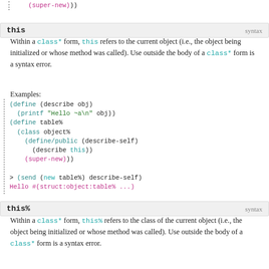(super-new)))
this    syntax
Within a class* form, this refers to the current object (i.e., the object being initialized or whose method was called). Use outside the body of a class* form is a syntax error.
Examples:
[Figure (screenshot): Racket code example showing define of describe function with printf, define of table% class extending object% with define/public describe-self calling (describe this), ending with (super-new))), followed by REPL interaction: > (send (new table%) describe-self) Hello #(struct:object:table% ...)]
this%    syntax
Within a class* form, this% refers to the class of the current object (i.e., the object being initialized or whose method was called). Use outside the body of a class* form is a syntax error.